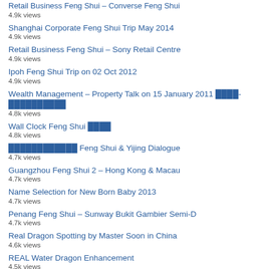Retail Business Feng Shui – Converse Feng Shui
4.9k views
Shanghai Corporate Feng Shui Trip May 2014
4.9k views
Retail Business Feng Shui – Sony Retail Centre
4.9k views
Ipoh Feng Shui Trip on 02 Oct 2012
4.9k views
Wealth Management – Property Talk on 15 January 2011 ████-██████████
4.8k views
Wall Clock Feng Shui ████
4.8k views
████████████ Feng Shui & Yijing Dialogue
4.7k views
Guangzhou Feng Shui 2 – Hong Kong & Macau
4.7k views
Name Selection for New Born Baby 2013
4.7k views
Penang Feng Shui – Sunway Bukit Gambier Semi-D
4.7k views
Real Dragon Spotting by Master Soon in China
4.6k views
REAL Water Dragon Enhancement
4.5k views
Malaysia Destiny Code 2020 – Chariot 🔲🔲
4.5k views
Sharing